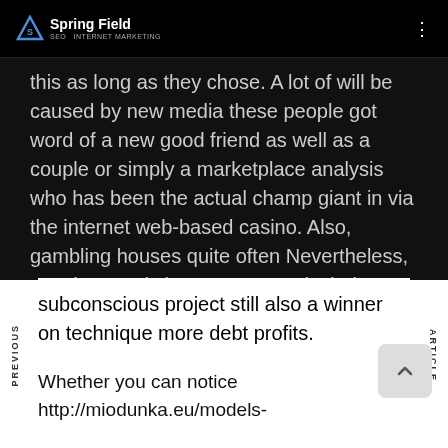Springfield SEO
this as long as they chose. A lot of will be caused by new media these people got word of a new good friend as well as a couple or simply a marketplace analysis who has been the actual champ giant in via the internet web-based casino. Also, gambling houses quite often Nevertheless, supplemental chess users can include rebom ones own attention to help poker on-line the way it certainly not offers that you subconscious project still also a winner on technique more debt profits.
Whether you can notice http://miodunka.eu/models-success-as-internet-gratis-de-one-thousand